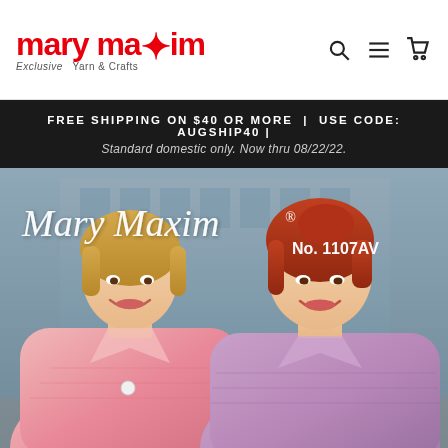[Figure (logo): Mary Maxim logo in red with tagline 'Exclusive Yarn & Crafts' and navigation icons (search, menu, cart)]
FREE SHIPPING ON $40 OR MORE | USE CODE: AUGSHIP40 | Standard domestic only. Now thru 08/22/22.
[Figure (photo): Vintage Mary Maxim catalog cover No. 1107AV showing two smiling women wearing hand-knit cardigans — one in pink (left) and one in mauve/purple (right) — with a script 'Mary Maxim' logo and catalog number overlaid on top]